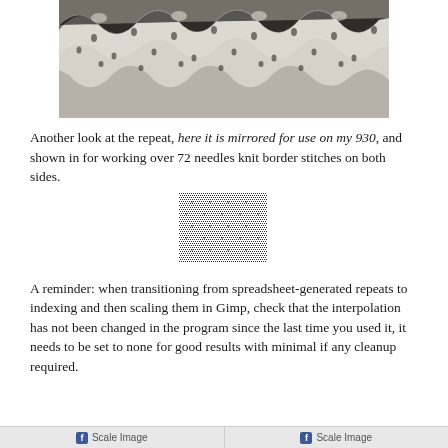[Figure (photo): Close-up photo of white/cream lace knitting with a zigzag/chevron wave pattern on a dark gray background]
Another look at the repeat, here it is mirrored for use on my 930, and shown in for working over 72 needles knit border stitches on both sides.
[Figure (other): A small pixel/dot pattern grid representing a knitting repeat chart, made of tiny dots arranged in a rectangular grid]
A reminder: when transitioning from spreadsheet-generated repeats to indexing and then scaling them in Gimp, check that the interpolation has not been changed in the program since the last time you used it, it needs to be set to none for good results with minimal if any cleanup required.
[Figure (screenshot): Bottom bar showing two 'Scale Image' buttons with Facebook icons]